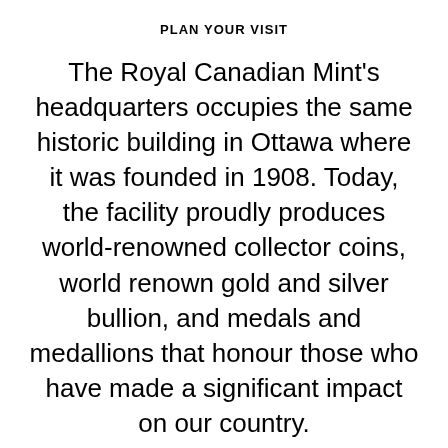PLAN YOUR VISIT
The Royal Canadian Mint's headquarters occupies the same historic building in Ottawa where it was founded in 1908. Today, the facility proudly produces world-renowned collector coins, world renown gold and silver bullion, and medals and medallions that honour those who have made a significant impact on our country.